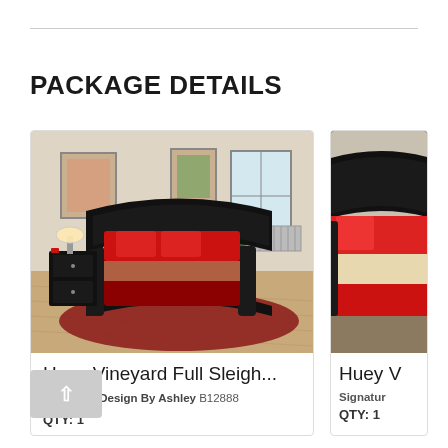PACKAGE DETAILS
[Figure (photo): Bedroom furniture photo showing black sleigh bed with red bedding, nightstand with lamp, on hardwood floor with red rug]
Huey Vineyard Full Sleigh...
Signature Design By Ashley B12888
QTY: 1
[Figure (photo): Partial view of second bedroom furniture photo - black sleigh headboard with red bedding, cropped]
Huey V
Signatur
QTY: 1